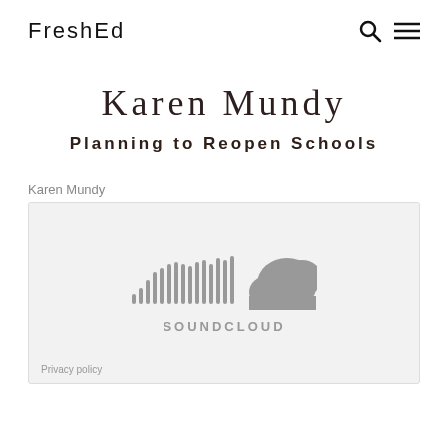FreshEd
Karen Mundy
Planning to Reopen Schools
Karen Mundy
[Figure (logo): SoundCloud logo with waveform bars and cloud shape, with text SOUNDCLOUD below]
Privacy policy